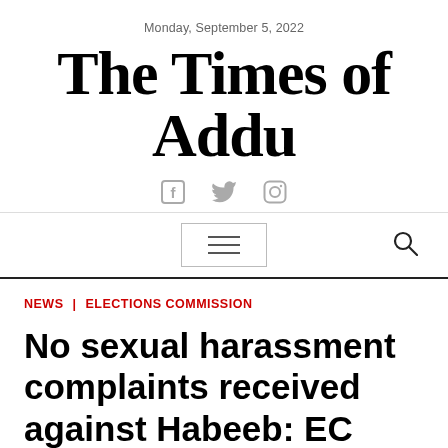Monday, September 5, 2022
The Times of Addu
[Figure (illustration): Social media icons: Facebook, Twitter, Instagram in gray]
[Figure (illustration): Navigation bar with hamburger menu button and search icon]
NEWS | ELECTIONS COMMISSION
No sexual harassment complaints received against Habeeb: EC